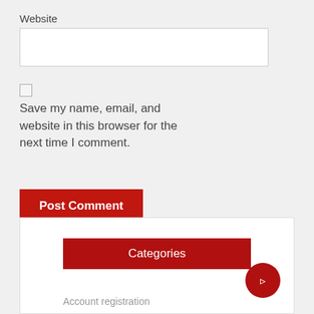Website
[Figure (screenshot): Text input field for website URL]
[Figure (screenshot): Checkbox for save my name, email, and website in this browser]
Save my name, email, and website in this browser for the next time I comment.
Post Comment
Categories
Account registration